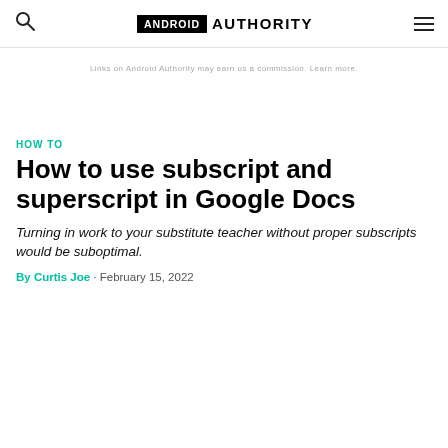ANDROID AUTHORITY
Links on Android Authority may earn us a commission. Learn more.
HOW TO
How to use subscript and superscript in Google Docs
Turning in work to your substitute teacher without proper subscripts would be suboptimal.
By Curtis Joe · February 15, 2022